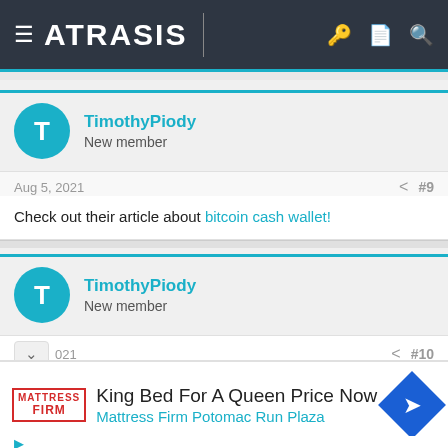ATRASIS
TimothyPiody
New member
Aug 5, 2021  #9
Check out their article about bitcoin cash wallet!
TimothyPiody
New member
#10
[Figure (infographic): Advertisement banner: King Bed For A Queen Price Now - Mattress Firm Potomac Run Plaza, with Mattress Firm logo and navigation icon]
King Bed For A Queen Price Now
Mattress Firm Potomac Run Plaza